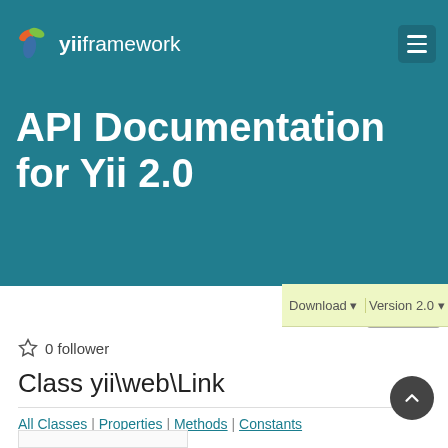yii framework
API Documentation for Yii 2.0
Download ▼   Version 2.0 ▼
SideNav
☆ 0 follower
Class yii\web\Link
All Classes | Properties | Methods | Constants